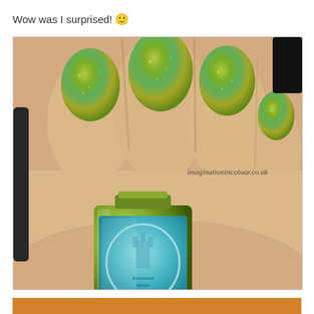Wow was I surprised! 🙂
[Figure (photo): Close-up photograph of a hand holding a bottle of Enchanted Polish nail polish. The nails are painted with a holographic green polish showing gold and teal shimmer. The bottle has a square shape with a cyan/teal label showing the Enchanted Polish castle logo. Watermark reads imaginationincolour.co.uk in the upper right of the image.]